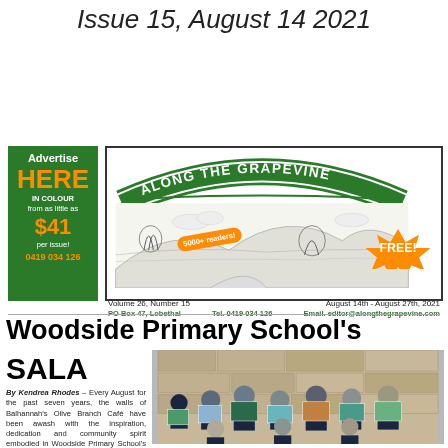Issue 15, August 14 2021
[Figure (illustration): Along The Grapevine newspaper masthead with arch banner, landscape sketch, 5000+ readers bubble, and FREE starburst. Green advertisement box to the left.]
Volume 26, Number 15    August 14th - August 27th, 2021
PO Box 47, Lobethal    Tel. 0419 034 126    Email. editor@alongthegrapevine.com
Woodside Primary School's
SALA
By Kendrea Rhodes – Every August for the past seven years, the walls of Balhannah's Olive Branch Café have been awash with the inspiration, dedication and community spirit embodied in Woodside Primary School's annual
[Figure (photo): Group photo of school children in dark uniforms holding colourful artwork paintings in front of a stone brick wall.]